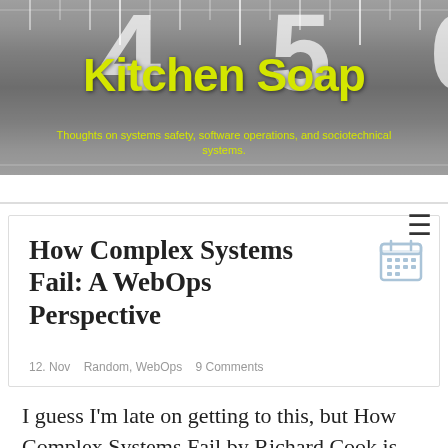[Figure (photo): Black and white ruler/tape measure close-up image serving as blog header background]
Kitchen Soap
Thoughts on systems safety, software operations, and sociotechnical systems.
How Complex Systems Fail: A WebOps Perspective
12. Nov   Random, WebOps   9 Comments
I guess I'm late on getting to this, but How Complex Systems Fail by Richard Cook is excellent. Let me start with this: I don't think I can overstate how right-on this paper is, with respect to the challenges, solutions, observations, and so on associated with operations.